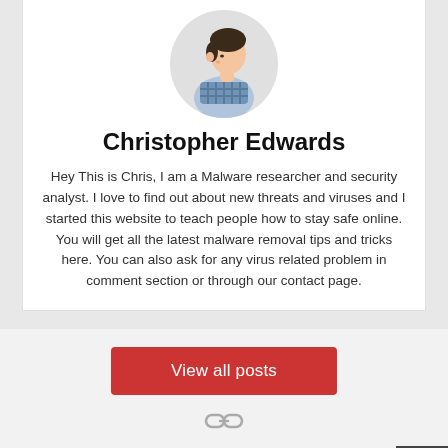[Figure (photo): Circular profile photo of a man in a plaid shirt, viewed from a side angle, looking downward]
Christopher Edwards
Hey This is Chris, I am a Malware researcher and security analyst. I love to find out about new threats and viruses and I started this website to teach people how to stay safe online. You will get all the latest malware removal tips and tricks here. You can also ask for any virus related problem in comment section or through our contact page.
View all posts
[Figure (illustration): Link/chain icon in gray]
Leave a Comment